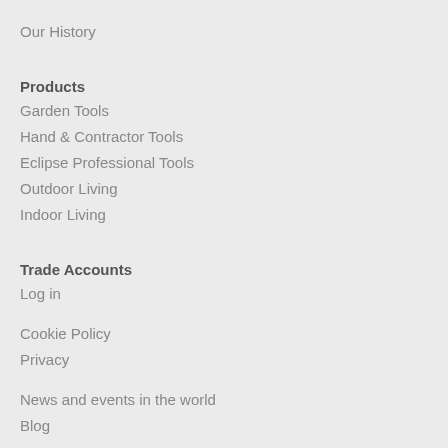Our History
Products
Garden Tools
Hand & Contractor Tools
Eclipse Professional Tools
Outdoor Living
Indoor Living
Trade Accounts
Log in
Cookie Policy
Privacy
News and events in the world
Blog